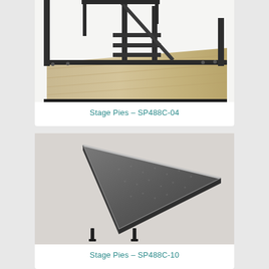[Figure (photo): Close-up photo of stage pie folding legs and wooden deck surface with black metal frame and steps]
Stage Pies – SP488C-04
[Figure (photo): Photo of a triangular stage pie section with dark grey carpet surface and black folding legs]
Stage Pies – SP488C-10